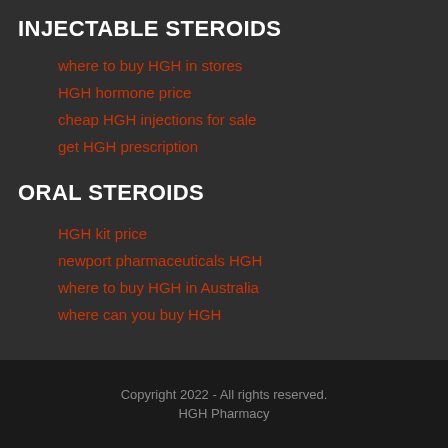INJECTABLE STEROIDS
where to buy HGH in stores
HGH hormone price
cheap HGH injections for sale
get HGH prescription
ORAL STEROIDS
HGH kit price
newport pharmaceuticals HGH
where to buy HGH in Australia
where can you buy HGH
Copyright 2022 - All rights reserved.
HGH Pharmacy